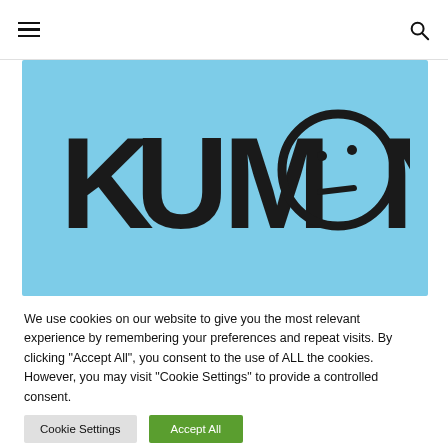navigation header with hamburger menu and search icon
[Figure (logo): Kumon logo on light blue background. Text reads KUMON with the letter O replaced by a circular face icon with dot eyes and a small curved mouth.]
We use cookies on our website to give you the most relevant experience by remembering your preferences and repeat visits. By clicking "Accept All", you consent to the use of ALL the cookies. However, you may visit "Cookie Settings" to provide a controlled consent.
Cookie Settings
Accept All